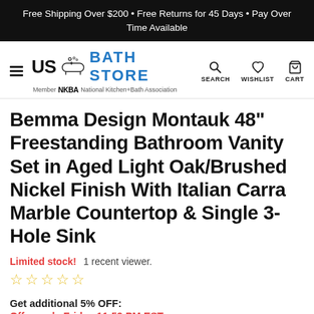Free Shipping Over $200 • Free Returns for 45 Days • Pay Over Time Available
[Figure (logo): US Bath Store logo with hamburger menu, bath icon, NKBA membership text, and navigation icons for Search, Wishlist, Cart]
Bemma Design Montauk 48" Freestanding Bathroom Vanity Set in Aged Light Oak/Brushed Nickel Finish With Italian Carra Marble Countertop & Single 3-Hole Sink
Limited stock!   1 recent viewer.
☆ ☆ ☆ ☆ ☆
Get additional 5% OFF:
Offer ends Friday 11:59 PM EST.